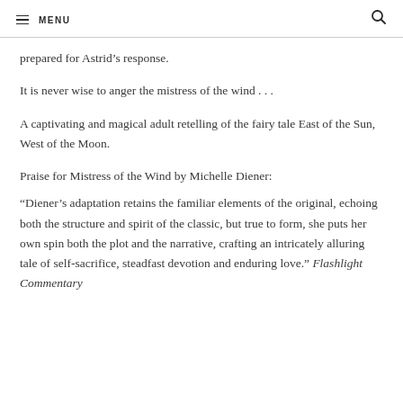MENU
prepared for Astrid’s response.
It is never wise to anger the mistress of the wind . . .
A captivating and magical adult retelling of the fairy tale East of the Sun, West of the Moon.
Praise for Mistress of the Wind by Michelle Diener:
“Diener’s adaptation retains the familiar elements of the original, echoing both the structure and spirit of the classic, but true to form, she puts her own spin both the plot and the narrative, crafting an intricately alluring tale of self-sacrifice, steadfast devotion and enduring love.” Flashlight Commentary